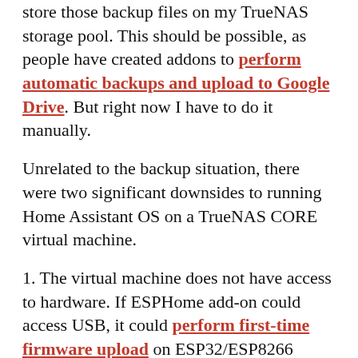store those backup files on my TrueNAS storage pool. This should be possible, as people have created addons to perform automatic backups and upload to Google Drive. But right now I have to do it manually.
Unrelated to the backup situation, there were two significant downsides to running Home Assistant OS on a TrueNAS CORE virtual machine.
1. The virtual machine does not have access to hardware. If ESPHome add-on could access USB, it could perform first-time firmware upload on ESP32/ESP8266 devices. Without hardware access, I have to perform initial upload some other way which is cumbersome. (Following uploads could be done via WiFi, a huge benefit of ESPHome.)
2. There are various problems with the FreeBSD bhyve hypervisor running Linux-based operating systems. A category of them (apparently there are more than one)